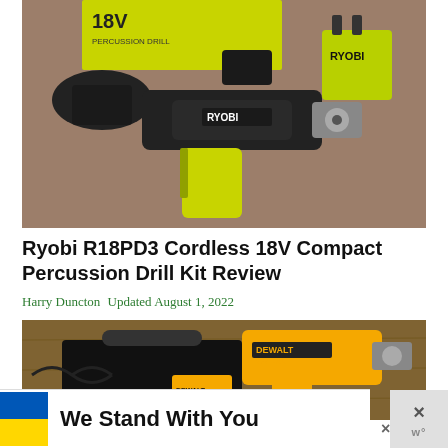[Figure (photo): Ryobi 18V percussion drill kit with two batteries and a charger laid out on a concrete surface, with the yellow-green Ryobi box in the background]
Ryobi R18PD3 Cordless 18V Compact Percussion Drill Kit Review
Harry Duncton  Updated August 1, 2022
[Figure (photo): DeWalt drill and accessories laid out on a wooden surface, partially visible]
We Stand With You